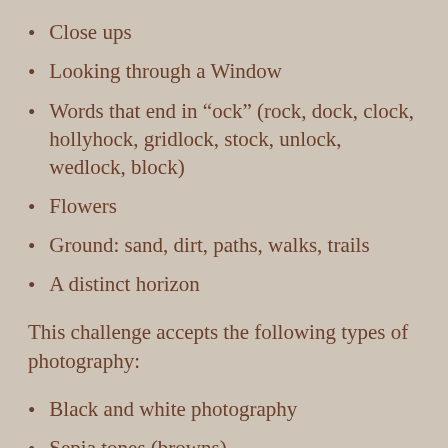Close ups
Looking through a Window
Words that end in “ock” (rock, dock, clock, hollyhock, gridlock, stock, unlock, wedlock, block)
Flowers
Ground: sand, dirt, paths, walks, trails
A distinct horizon
This challenge accepts the following types of photography:
Black and white photography
Sepia tones (browns)
Selective color with the majority of the